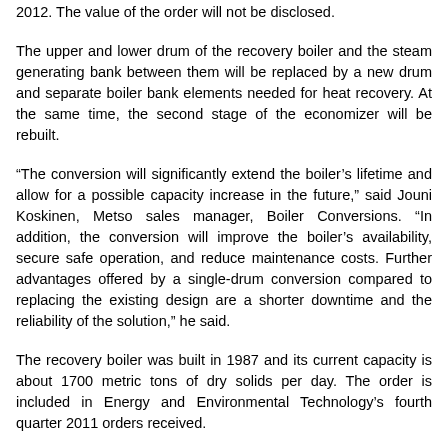2012. The value of the order will not be disclosed.
The upper and lower drum of the recovery boiler and the steam generating bank between them will be replaced by a new drum and separate boiler bank elements needed for heat recovery. At the same time, the second stage of the economizer will be rebuilt.
“The conversion will significantly extend the boiler’s lifetime and allow for a possible capacity increase in the future,” said Jouni Koskinen, Metso sales manager, Boiler Conversions. “In addition, the conversion will improve the boiler’s availability, secure safe operation, and reduce maintenance costs. Further advantages offered by a single-drum conversion compared to replacing the existing design are a shorter downtime and the reliability of the solution,” he said.
The recovery boiler was built in 1987 and its current capacity is about 1700 metric tons of dry solids per day. The order is included in Energy and Environmental Technology’s fourth quarter 2011 orders received.
Stora Enso is the global rethinker of the packaging, paper, and wood products industry. Stora Enso employs some 30,000 people